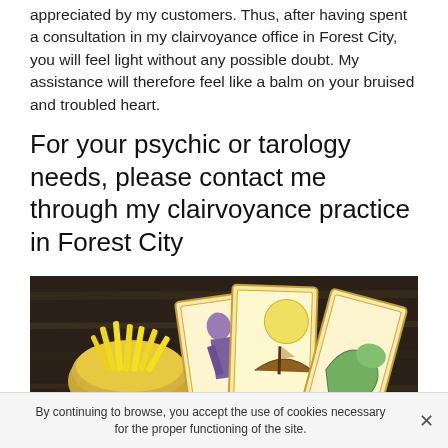appreciated by my customers. Thus, after having spent a consultation in my clairvoyance office in Forest City, you will feel light without any possible doubt. My assistance will therefore feel like a balm on your bruised and troubled heart.
For your psychic or tarology needs, please contact me through my clairvoyance practice in Forest City
[Figure (photo): A dark wooden table with tarot cards fanned out, a golden bowl filled with yellow candles, purple and blue crystal balls, and additional tarot cards in the foreground.]
By continuing to browse, you accept the use of cookies necessary for the proper functioning of the site.